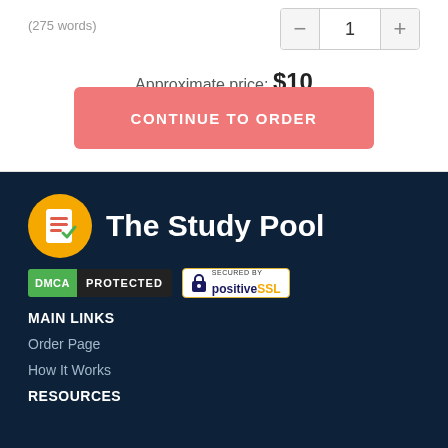(275 words)
Approximate price: $10
CONTINUE TO ORDER
[Figure (logo): The Study Pool logo with orange circle containing document icon and white text 'The Study Pool']
[Figure (logo): DMCA PROTECTED badge]
[Figure (logo): Secured by Positive SSL badge]
MAIN LINKS
Order Page
How It Works
RESOURCES